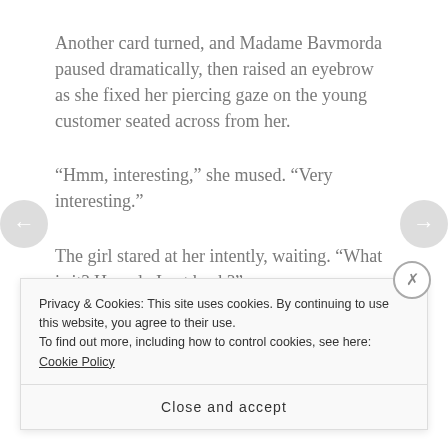Another card turned, and Madame Bavmorda paused dramatically, then raised an eyebrow as she fixed her piercing gaze on the young customer seated across from her.
“Hmm, interesting,” she mused. “Very interesting.”
The girl stared at her intently, waiting. “What is it? How do I get back?”
“Madame Bavmorda can help you—for a nominal fee.”
Privacy & Cookies: This site uses cookies. By continuing to use this website, you agree to their use.
To find out more, including how to control cookies, see here: Cookie Policy
Close and accept